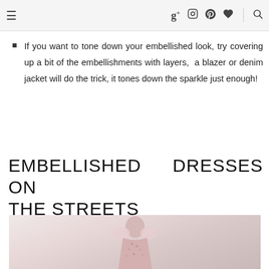Navigation bar with hamburger menu, social icons (Google+, Instagram, Pinterest, heart/favorites, search)
If you want to tone down your embellished look, try covering up a bit of the embellishments with layers, a blazer or denim jacket will do the trick, it tones down the sparkle just enough!
EMBELLISHED DRESSES ON THE STREETS
[Figure (photo): Woman wearing a pink embellished dress with floral beading and ruffled short sleeves, photographed against a light background]